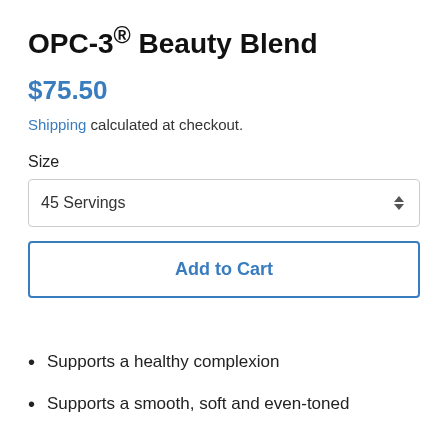OPC-3® Beauty Blend
$75.50
Shipping calculated at checkout.
Size
45 Servings
Add to Cart
Supports a healthy complexion
Supports a smooth, soft and even-toned